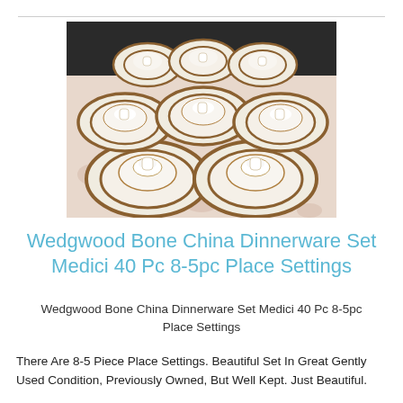[Figure (photo): A dinnerware set arranged on a floral tablecloth: multiple place settings each consisting of stacked dinner plates, salad plates, saucers, and cups with decorative dark band borders on white bone china.]
Wedgwood Bone China Dinnerware Set Medici 40 Pc 8-5pc Place Settings
Wedgwood Bone China Dinnerware Set Medici 40 Pc 8-5pc Place Settings
There Are 8-5 Piece Place Settings. Beautiful Set In Great Gently Used Condition, Previously Owned, But Well Kept. Just Beautiful.